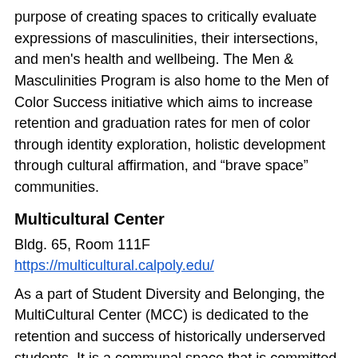purpose of creating spaces to critically evaluate expressions of masculinities, their intersections, and men's health and wellbeing. The Men & Masculinities Program is also home to the Men of Color Success initiative which aims to increase retention and graduation rates for men of color through identity exploration, holistic development through cultural affirmation, and “brave space” communities.
Multicultural Center
Bldg. 65, Room 111F
https://multicultural.calpoly.edu/
As a part of Student Diversity and Belonging, the MultiCultural Center (MCC) is dedicated to the retention and success of historically underserved students. It is a communal space that is committed to serving the holistic development of our campus’ student body, by providing  programs and services that: engage students in their identity exploration and development through critical self-reflection and dialogue, center and celebrate the voices and experiences of underrepresented students, and cultivate a sense of belonging through community building.